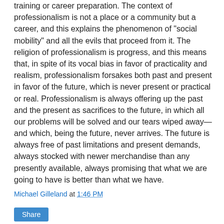training or career preparation. The context of professionalism is not a place or a community but a career, and this explains the phenomenon of "social mobility" and all the evils that proceed from it. The religion of professionalism is progress, and this means that, in spite of its vocal bias in favor of practicality and realism, professionalism forsakes both past and present in favor of the future, which is never present or practical or real. Professionalism is always offering up the past and the present as sacrifices to the future, in which all our problems will be solved and our tears wiped away—and which, being the future, never arrives. The future is always free of past limitations and present demands, always stocked with newer merchandise than any presently available, always promising that what we are going to have is better than what we have.
Michael Gilleland at 1:46 PM